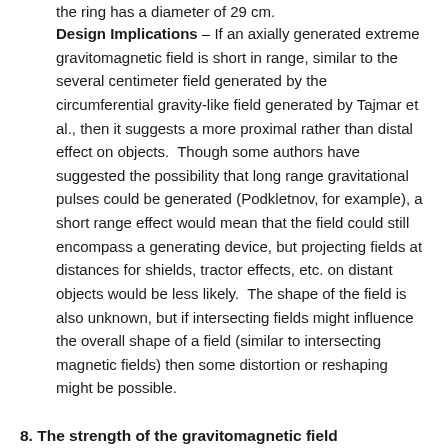the ring has a diameter of 29 cm.
Design Implications – If an axially generated extreme gravitomagnetic field is short in range, similar to the several centimeter field generated by the circumferential gravity-like field generated by Tajmar et al., then it suggests a more proximal rather than distal effect on objects. Though some authors have suggested the possibility that long range gravitational pulses could be generated (Podkletnov, for example), a short range effect would mean that the field could still encompass a generating device, but projecting fields at distances for shields, tractor effects, etc. on distant objects would be less likely. The shape of the field is also unknown, but if intersecting fields might influence the overall shape of a field (similar to intersecting magnetic fields) then some distortion or reshaping might be possible.
8. The strength of the gravitomagnetic field